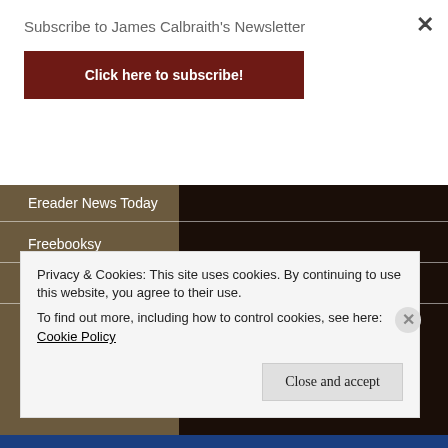Subscribe to James Calbraith's Newsletter
Click here to subscribe!
Ereader News Today
Freebooksy
Kindle Nation Daily
Privacy & Cookies: This site uses cookies. By continuing to use this website, you agree to their use.
To find out more, including how to control cookies, see here: Cookie Policy
Close and accept